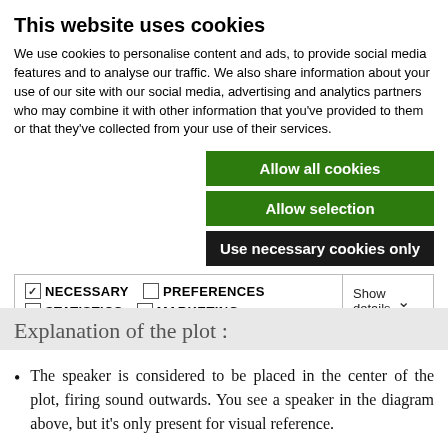This website uses cookies
We use cookies to personalise content and ads, to provide social media features and to analyse our traffic. We also share information about your use of our site with our social media, advertising and analytics partners who may combine it with other information that you've provided to them or that they've collected from your use of their services.
Allow all cookies
Allow selection
Use necessary cookies only
| ✓ NECESSARY | ☐ PREFERENCES | ☐ STATISTICS | Show details ∨ |
| ☐ MARKETING |  |  |  |
Explanation of the plot :
The speaker is considered to be placed in the center of the plot, firing sound outwards. You see a speaker in the diagram above, but it's only present for visual reference.